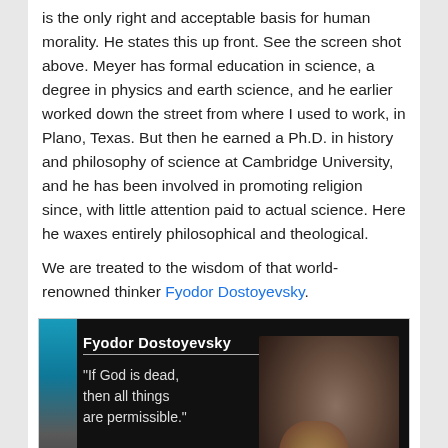is the only right and acceptable basis for human morality. He states this up front. See the screen shot above. Meyer has formal education in science, a degree in physics and earth science, and he earlier worked down the street from where I used to work, in Plano, Texas. But then he earned a Ph.D. in history and philosophy of science at Cambridge University, and he has been involved in promoting religion since, with little attention paid to actual science. Here he waxes entirely philosophical and theological.
We are treated to the wisdom of that world-renowned thinker Fyodor Dostoyevsky.
[Figure (screenshot): Screenshot of a slide or video frame showing a quote attributed to Fyodor Dostoyevsky. The slide has a dark background with a portrait of Dostoyevsky on the right side. Text reads: 'Fyodor Dostoyevsky' as the header with a line beneath, followed by the quote "If God is dead, then all things are permissible." A blue/teal accent and a circular geometric diagram are visible.]